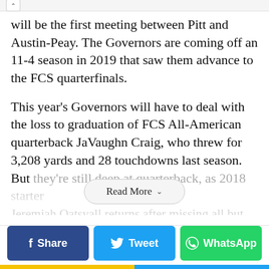will be the first meeting between Pitt and Austin-Peay. The Governors are coming off an 11-4 season in 2019 that saw them advance to the FCS quarterfinals.
This year's Governors will have to deal with the loss to graduation of FCS All-American quarterback JaVaughn Craig, who threw for 3,208 yards and 28 touchdowns last season. But they're still deep at quarterback, as 2018 starter Jeremiah Oatsvall returns after missing all but